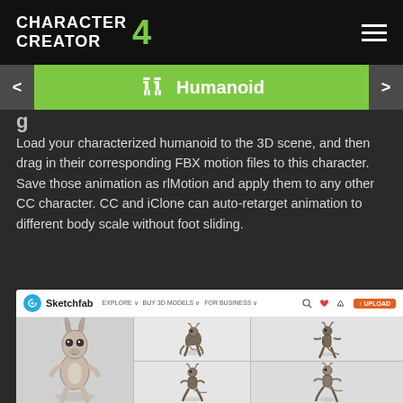Character Creator 4
Humanoid
g
Load your characterized humanoid to the 3D scene, and then drag in their corresponding FBX motion files to this character. Save those animation as rlMotion and apply them to any other CC character. CC and iClone can auto-retarget animation to different body scale without foot sliding.
[Figure (screenshot): Sketchfab website screenshot showing a grid of animated creature 3D character models (kangaroo-like bipedal creatures in various poses), with the Sketchfab navigation bar at the top including Explore, Buy 3D Models, For Business links, and an Upload button.]